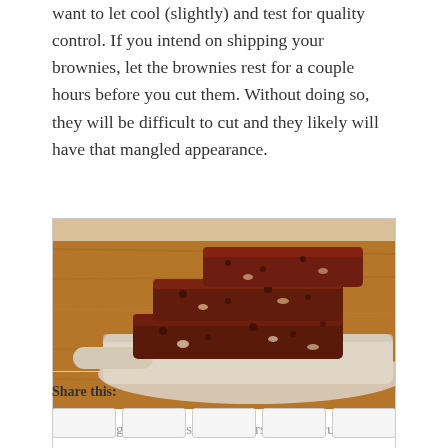want to let cool (slightly) and test for quality control. If you intend on shipping your brownies, let the brownies rest for a couple hours before you cut them. Without doing so, they will be difficult to cut and they likely will have that mangled appearance.
[Figure (photo): Photo of several chocolate brownies stacked on a white wooden cutting board on a wooden table surface]
I managed to wait several hours before I cut these guys.
Share this: